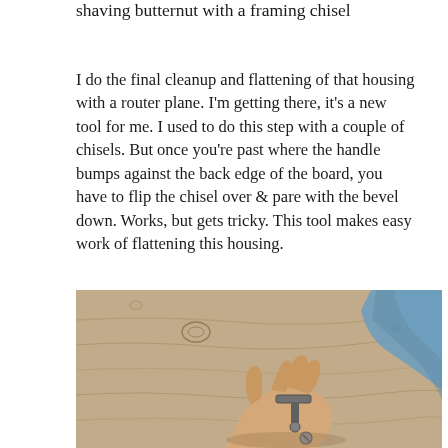shaving butternut with a framing chisel
I do the final cleanup and flattening of that housing with a router plane. I'm getting there, it's a new tool for me. I used to do this step with a couple of chisels. But once you're past where the handle bumps against the back edge of the board, you have to flip the chisel over & pare with the bevel down. Works, but gets tricky. This tool makes easy work of flattening this housing.
[Figure (photo): A hand using a router plane tool on a piece of wood (butternut), with blue fabric visible in the background upper right.]